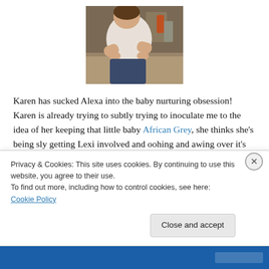[Figure (photo): A person leaning over a kitchen counter, appearing to tend to something small, with various items visible in the background.]
Karen has sucked Alexa into the baby nurturing obsession! Karen is already trying to subtly trying to inoculate me to the idea of her keeping that little baby African Grey, she thinks she's being sly getting Lexi involved and oohing and awing over it's white toes.
Privacy & Cookies: This site uses cookies. By continuing to use this website, you agree to their use.
To find out more, including how to control cookies, see here: Cookie Policy
Close and accept